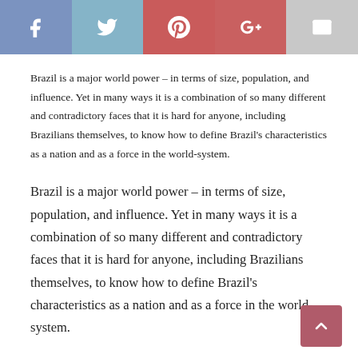[Figure (other): Social sharing button bar with Facebook, Twitter, Pinterest, Google+, and Email icons]
Brazil is a major world power – in terms of size, population, and influence. Yet in many ways it is a combination of so many different and contradictory faces that it is hard for anyone, including Brazilians themselves, to know how to define Brazil's characteristics as a nation and as a force in the world-system.
Brazil is a major world power – in terms of size, population, and influence. Yet in many ways it is a combination of so many different and contradictory faces that it is hard for anyone, including Brazilians themselves, to know how to define Brazil's characteristics as a nation and as a force in the world-system.